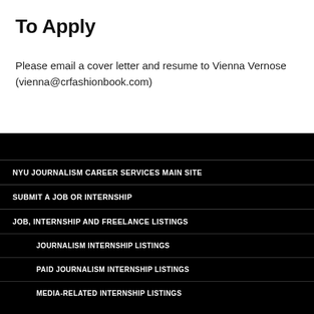To Apply
Please email a cover letter and resume to Vienna Vernose (vienna@crfashionbook.com)
NYU JOURNALISM CAREER SERVICES MAIN SITE
SUBMIT A JOB OR INTERNSHIP
JOB, INTERNSHIP AND FREELANCE LISTINGS
JOURNALISM INTERNSHIP LISTINGS
PAID JOURNALISM INTERNSHIP LISTINGS
MEDIA-RELATED INTERNSHIP LISTINGS